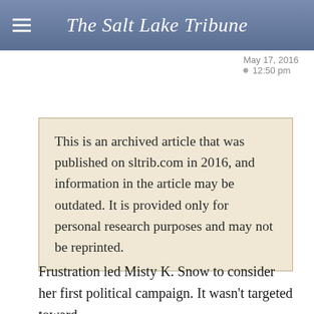The Salt Lake Tribune
May 17, 2016
12:50 pm
This is an archived article that was published on sltrib.com in 2016, and information in the article may be outdated. It is provided only for personal research purposes and may not be reprinted.
Frustration led Misty K. Snow to consider her first political campaign. It wasn't targeted toward